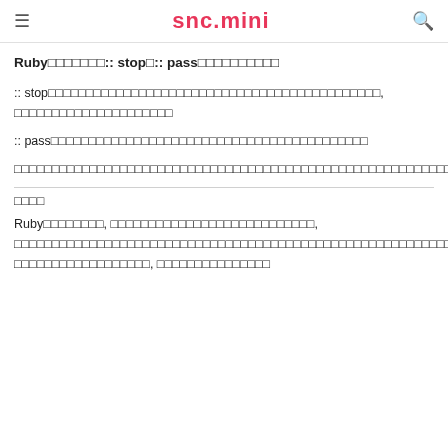≡   snc.mini   🔍
Ruby□□□□□□□:: stop□:: pass□□□□□□□□□□
:: stop□□□□□□□□□□□□□□□□□□□□□□□□□□□□□□□□□□□□□□□□□□□□,  □□□□□□□□□□□□□□□□□□□□□
:: pass□□□□□□□□□□□□□□□□□□□□□□□□□□□□□□□□□□□□□□
□□□□□□□□□□□□□□□□□□□□□□□□□□□□□□□□□□□□□□□□□□□□□□□□□□□□□□□□□□□□□□□□□□□□□□□
□□□□
Ruby□□□□□□□□,  □□□□□□□□□□□□□□□□□□□□□□□□□□□,  □□□□□□□□□□□□□□□□□□□□□□□□□□□□□□□□□□□□□□□□□□□□□□□□□□□□□□□□□□□□□□□□□□□□□□□□□□□□□□□□□□□□□,  □□□□□□□□□□□□□□□□□□,  □□□□□□□□□□□□□□□